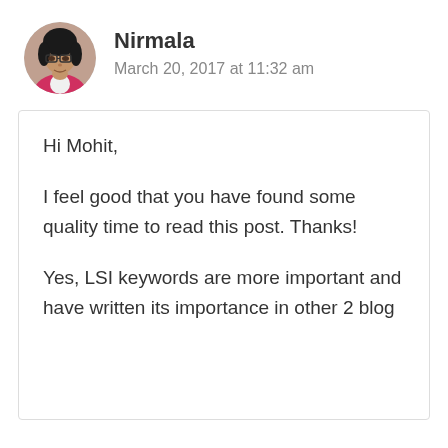[Figure (photo): Circular avatar photo of Nirmala, a woman wearing glasses and a pink top]
Nirmala
March 20, 2017 at 11:32 am
Hi Mohit,

I feel good that you have found some quality time to read this post. Thanks!

Yes, LSI keywords are more important and have written its importance in other 2 blog